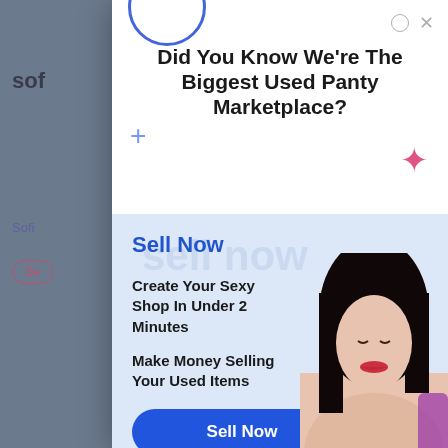Did You Know We're The Biggest Used Panty Marketplace?
Sell Now
Create Your Sexy Shop In Under 2 Minutes
Make Money Selling Your Used Items
Sell Now
Buy Now